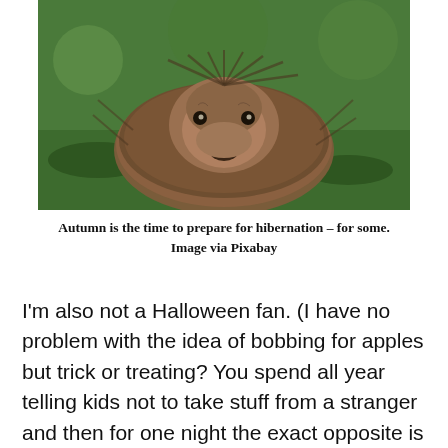[Figure (photo): Close-up photo of a hedgehog on green grass, facing the camera. The hedgehog has brown spines and a small brown furry face with dark eyes and a dark nose.]
Autumn is the time to prepare for hibernation – for some. Image via Pixabay
I'm also not a Halloween fan. (I have no problem with the idea of bobbing for apples but trick or treating? You spend all year telling kids not to take stuff from a stranger and then for one night the exact opposite is done. It seems like nonsense to me. It also seems like blackmail and I'm not keen on that either!)